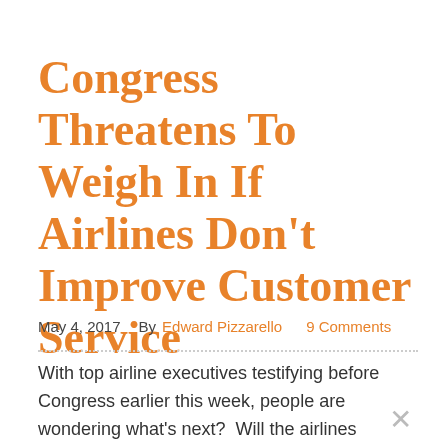Congress Threatens To Weigh In If Airlines Don’t Improve Customer Service
May 4, 2017    By Edward Pizzarello    9 Comments
With top airline executives testifying before Congress earlier this week, people are wondering what’s next?  Will the airlines improve the way they treat customers or force Congress to do it for them?